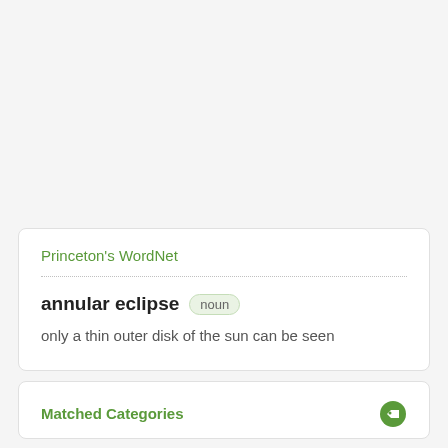Princeton's WordNet
annular eclipse  noun
only a thin outer disk of the sun can be seen
Matched Categories